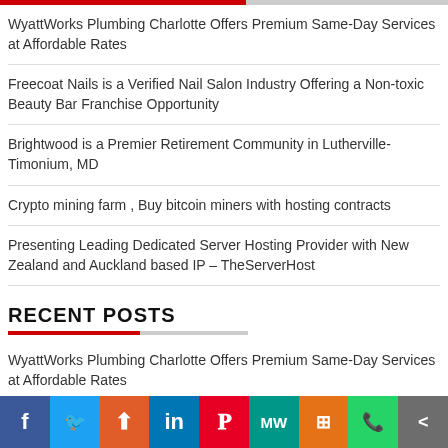WyattWorks Plumbing Charlotte Offers Premium Same-Day Services at Affordable Rates
Freecoat Nails is a Verified Nail Salon Industry Offering a Non-toxic Beauty Bar Franchise Opportunity
Brightwood is a Premier Retirement Community in Lutherville-Timonium, MD
Crypto mining farm , Buy bitcoin miners with hosting contracts
Presenting Leading Dedicated Server Hosting Provider with New Zealand and Auckland based IP – TheServerHost
RECENT POSTS
WyattWorks Plumbing Charlotte Offers Premium Same-Day Services at Affordable Rates